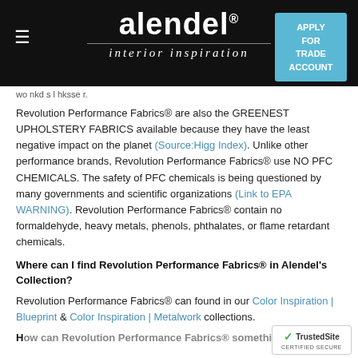alendel® interior inspiration — APPLY FOR TRADE ACCOUNT
Revolution Performance Fabrics® are also the GREENEST UPHOLSTERY FABRICS available because they have the least negative impact on the planet (Source:Higg Index). Unlike other performance brands, Revolution Performance Fabrics® use NO PFC CHEMICALS. The safety of PFC chemicals is being questioned by many governments and scientific organizations (Link to EPA WARNING). Revolution Performance Fabrics® contain no formaldehyde, heavy metals, phenols, phthalates, or flame retardant chemicals.
Where can I find Revolution Performance Fabrics® in Alendel's Collection?
Revolution Performance Fabrics® can found in our Color Inspiration | Blueprint & Color Inspiration | Metalwork collections.
How can Revolution Performance Fabrics® something...